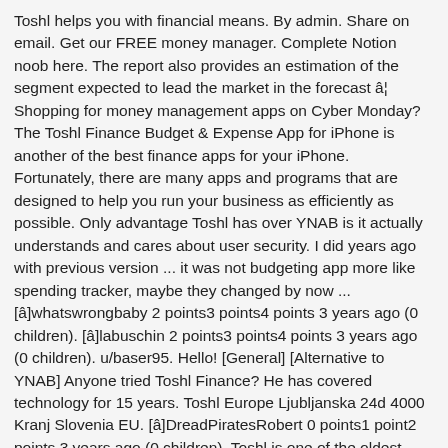Toshl helps you with financial means. By admin. Share on email. Get our FREE money manager. Complete Notion noob here. The report also provides an estimation of the segment expected to lead the market in the forecast â¦ Shopping for money management apps on Cyber Monday? The Toshl Finance Budget & Expense App for iPhone is another of the best finance apps for your iPhone. Fortunately, there are many apps and programs that are designed to help you run your business as efficiently as possible. Only advantage Toshl has over YNAB is it actually understands and cares about user security. I did years ago with previous version ... it was not budgeting app more like spending tracker, maybe they changed by now ... [â]whatswrongbaby 2 points3 points4 points 3 years ago (0 children). [â]labuschin 2 points3 points4 points 3 years ago (0 children). u/baser95. Hello! [General] [Alternative to YNAB] Anyone tried Toshl Finance? He has covered technology for 15 years. Toshl Europe Ljubljanska 24d 4000 Kranj Slovenia EU. [â]DreadPiratesRobert 0 points1 point2 points 3 years ago (0 children). Toshl is one of the oldest (and robust) expense trackers it